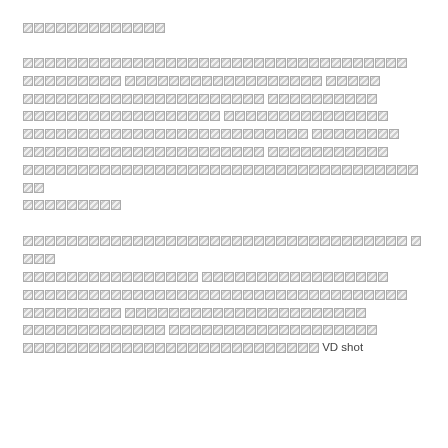[unrecognized glyphs - section header]
[unrecognized glyphs - body paragraph 1]
[unrecognized glyphs - body paragraph 2, ending with 'VD shot']